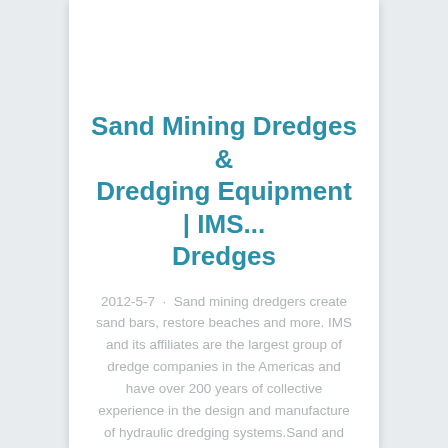Sand Mining Dredges & Dredging Equipment | IMS... Dredges
2012-5-7 · Sand mining dredgers create sand bars, restore beaches and more. IMS and its affiliates are the largest group of dredge companies in the Americas and have over 200 years of collective experience in the design and manufacture of hydraulic dredging systems.Sand and Gravel Dredging - Friends of the Kaw2022-1-6 · Sand and Gravel Dredging. The Kansas River has been commercially mined (dredged) for sand and gravel since the early 1900"s. Sand from the Kaw is highly sought after because of its size and shape, which makes it particularly ...